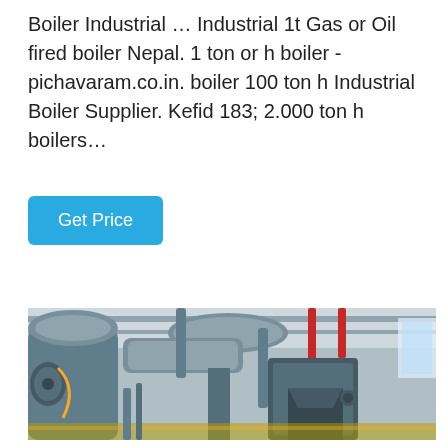Boiler Industrial … Industrial 1t Gas or Oil fired boiler Nepal. 1 ton or h boiler - pichavaram.co.in. boiler 100 ton h Industrial Boiler Supplier. Kefid 183; 2.000 ton h boilers…
Get Price
[Figure (photo): Interior of an industrial boiler room showing large cylindrical boilers with silver insulation, network of pipes and ducts along the ceiling, red pipes, yellow floor markings, and industrial equipment.]